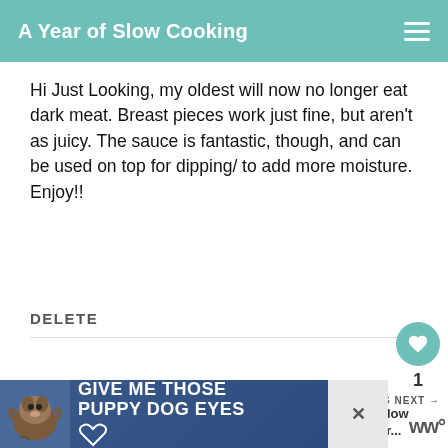A Year of Slow Cooking
Hi Just Looking, my oldest will now no longer eat dark meat. Breast pieces work just fine, but aren't as juicy. The sauce is fantastic, though, and can be used on top for dipping/ to add more moisture. Enjoy!!
DELETE
SARAH H
7/18/2014
Added some freshly ground Black Pepper and some ground Chillis - Gorgeous :)
[Figure (screenshot): Advertisement banner: GIVE ME THOSE PUPPY DOG EYES with a dog image on the left and a close button on the right]
WHAT'S NEXT → Best Slow Cooker...